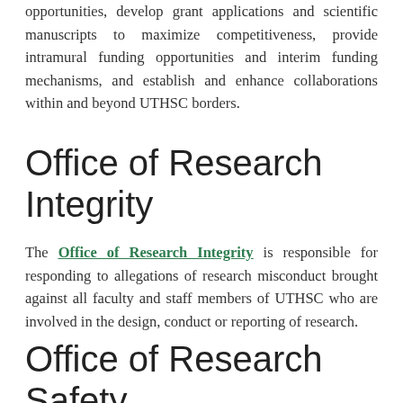opportunities, develop grant applications and scientific manuscripts to maximize competitiveness, provide intramural funding opportunities and interim funding mechanisms, and establish and enhance collaborations within and beyond UTHSC borders.
Office of Research Integrity
The Office of Research Integrity is responsible for responding to allegations of research misconduct brought against all faculty and staff members of UTHSC who are involved in the design, conduct or reporting of research.
Office of Research Safety Affairs